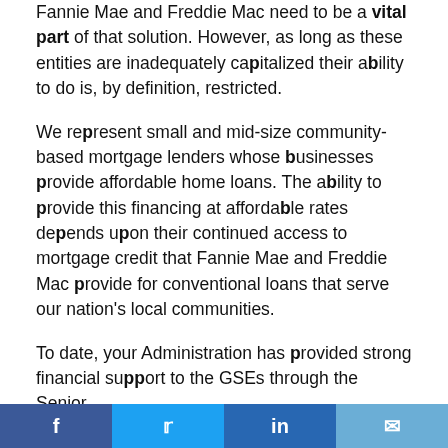Fannie Mae and Freddie Mac need to be a vital part of that solution. However, as long as these entities are inadequately capitalized their ability to do is, by definition, restricted.
We represent small and mid-size community-based mortgage lenders whose businesses provide affordable home loans. The ability to provide this financing at affordable rates depends upon their continued access to mortgage credit that Fannie Mae and Freddie Mac provide for conventional loans that serve our nation's local communities.
To date, your Administration has provided strong financial support to the GSEs through the Senior
f  Twitter  in  Email